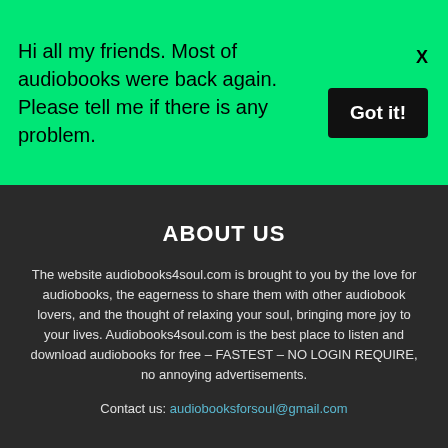Hi all my friends. Most of audiobooks were back again. Please tell me if there is any problem.
Got it!
ABOUT US
The website audiobooks4soul.com is brought to you by the love for audiobooks, the eagerness to share them with other audiobook lovers, and the thought of relaxing your soul, bringing more joy to your lives. Audiobooks4soul.com is the best place to listen and download audiobooks for free – FASTEST – NO LOGIN REQUIRE, no annoying advertisements.
Contact us: audiobooksforsoul@gmail.com